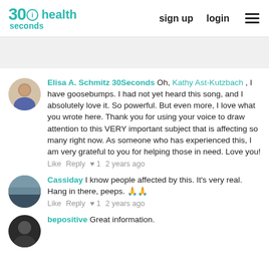30 health seconds — sign up  login
Elisa A. Schmitz 30Seconds  Oh, Kathy Ast-Kutzbach , I have goosebumps. I had not yet heard this song, and I absolutely love it. So powerful. But even more, I love what you wrote here. Thank you for using your voice to draw attention to this VERY important subject that is affecting so many right now. As someone who has experienced this, I am very grateful to you for helping those in need. Love you!
Like  Reply  ♥ 1  2 years ago
Cassiday  I know people affected by this. It's very real. Hang in there, peeps. 🙏🙏
Like  Reply  ♥ 1  2 years ago
bepositive  Great information.